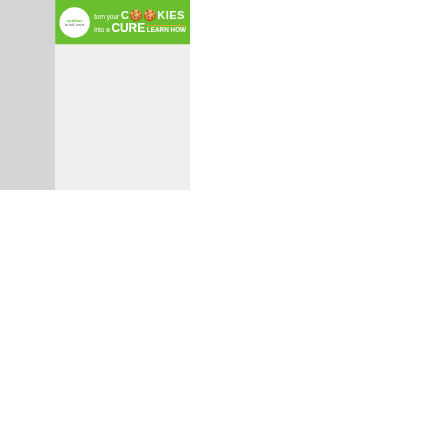[Figure (screenshot): Green advertisement banner: 'cookies for kids cancer — turn your COOKIES into a CURE LEARN HOW' with close button (X) in top right]
[Figure (screenshot): Embedded video or media player area (gray/blank area with Wistia watermark in bottom right)]
And one more link to download the pattern if you need
[Figure (screenshot): Red rounded rectangle with underlined white link text: 'Gathered Back Tank Pattern']
[Figure (screenshot): WHAT'S NEXT panel with thumbnail image and text 'Simple Summer Tan...']
[Figure (screenshot): Bottom advertisement: 'You can help hungry kids.' with No Kid Hungry logo and LEARN HOW button, close X button]